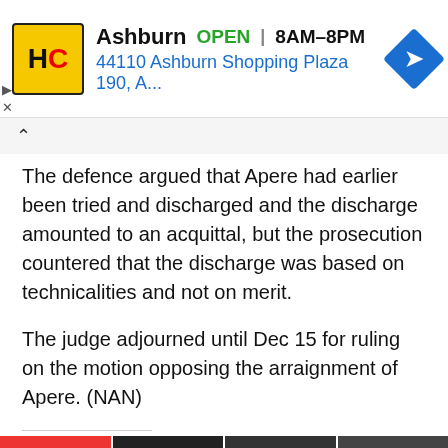[Figure (infographic): Advertisement banner: HC logo (black H and C on yellow background), business name 'Ashburn', OPEN status in green, hours '8AM-8PM', address '44110 Ashburn Shopping Plaza 190, A...', blue navigation diamond icon. Play and close (X) icons on left side.]
The defence argued that Apere had earlier been tried and discharged and the discharge amounted to an acquittal, but the prosecution countered that the discharge was based on technicalities and not on merit.
The judge adjourned until Dec 15 for ruling on the motion opposing the arraignment of Apere. (NAN)
Share this:
[Figure (infographic): Social sharing buttons: Tweet (blue), Telegram (outlined), Print (outlined), Share/LinkedIn (blue), WhatsApp (outlined)]